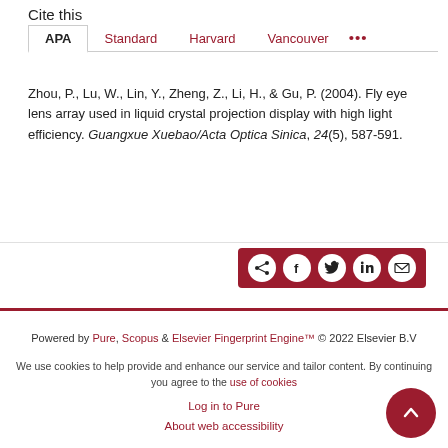Cite this
APA | Standard | Harvard | Vancouver | ...
Zhou, P., Lu, W., Lin, Y., Zheng, Z., Li, H., & Gu, P. (2004). Fly eye lens array used in liquid crystal projection display with high light efficiency. Guangxue Xuebao/Acta Optica Sinica, 24(5), 587-591.
[Figure (other): Share bar with social media icons: share, Facebook, Twitter, LinkedIn, email]
Powered by Pure, Scopus & Elsevier Fingerprint Engine™ © 2022 Elsevier B.V

We use cookies to help provide and enhance our service and tailor content. By continuing you agree to the use of cookies

Log in to Pure

About web accessibility